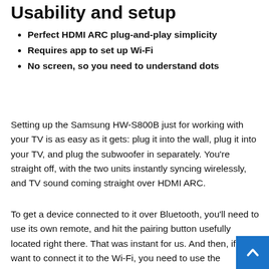Usability and setup
Perfect HDMI ARC plug-and-play simplicity
Requires app to set up Wi-Fi
No screen, so you need to understand dots
Setting up the Samsung HW-S800B just for working with your TV is as easy as it gets: plug it into the wall, plug it into your TV, and plug the subwoofer in separately. You're straight off, with the two units instantly syncing wirelessly, and TV sound coming straight over HDMI ARC.
To get a device connected to it over Bluetooth, you'll need to use its own remote, and hit the pairing button usefully located right there. That was instant for us. And then, if you want to connect it to the Wi-Fi, you need to use the Samsung SmartThings app, which will walk you through the process – so it becomes a bit of a multi-stage thing. We had a problem with